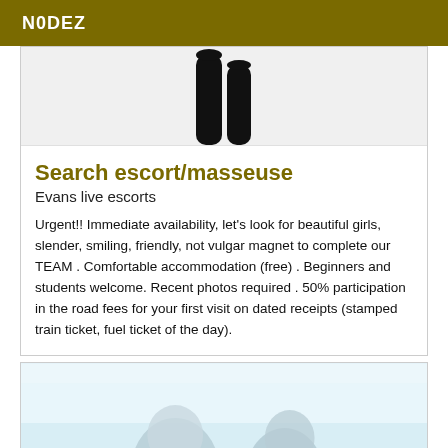N0DEZ
[Figure (photo): Partial photo of a person showing legs in black stockings/clothing, cropped at the top of the card]
Search escort/masseuse
Evans live escorts
Urgent!! Immediate availability, let's look for beautiful girls, slender, smiling, friendly, not vulgar magnet to complete our TEAM . Comfortable accommodation (free) . Beginners and students welcome. Recent photos required . 50% participation in the road fees for your first visit on dated receipts (stamped train ticket, fuel ticket of the day).
[Figure (photo): Photo showing two people outdoors with a light blue/white background, partially visible at bottom of page]